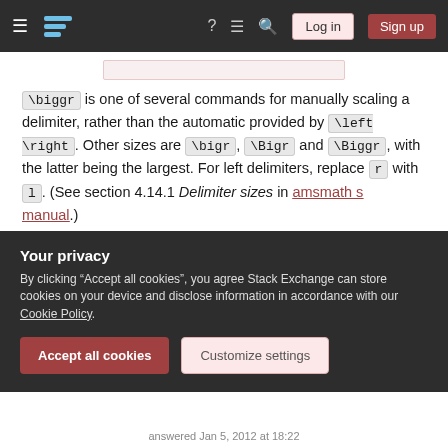Stack Exchange navigation bar with Log in and Sign up buttons
\biggr is one of several commands for manually scaling a delimiter, rather than the automatic provided by \left \right . Other sizes are \bigr , \Bigr and \Biggr , with the latter being the largest. For left delimiters, replace r with l . (See section 4.14.1 Delimiter sizes in amsmath s manual.)
Should you want to use \left\right , you need to add an ERT with \left. before the fraction (or
Your privacy
By clicking “Accept all cookies”, you agree Stack Exchange can store cookies on your device and disclose information in accordance with our Cookie Policy.
answered Jan 5, 2012 at 18:22